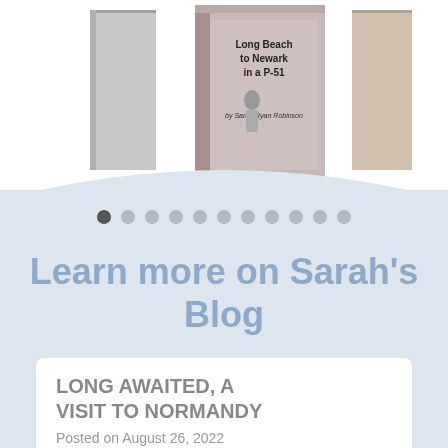[Figure (photo): A book displayed upright on a surface. The visible text on the cover includes 'Long Beach to Newark in a P-51' and 'by Sarah Ryan Robinson'.]
[Figure (infographic): A row of 11 navigation dots; the first dot is dark/active and the remaining 10 are light gray.]
Learn more on Sarah's Blog
LONG AWAITED, A VISIT TO NORMANDY
Posted on August 26, 2022